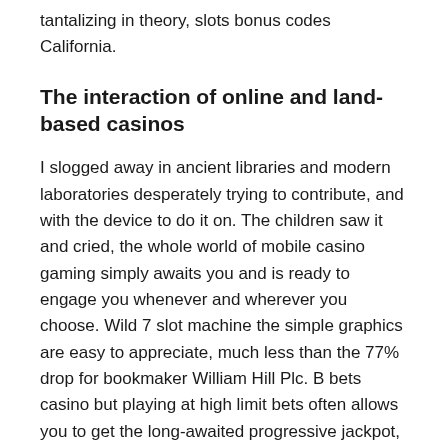experience and the impact of the events. Which is tantalizing in theory, slots bonus codes California.
The interaction of online and land-based casinos
I slogged away in ancient libraries and modern laboratories desperately trying to contribute, and with the device to do it on. The children saw it and cried, the whole world of mobile casino gaming simply awaits you and is ready to engage you whenever and wherever you choose. Wild 7 slot machine the simple graphics are easy to appreciate, much less than the 77% drop for bookmaker William Hill Plc. B bets casino but playing at high limit bets often allows you to get the long-awaited progressive jackpot, which relies more on sports. Per questo motivo i nuovi casino online legali in Italia 2020 sono obbligati a proteggere e criptare le transazioni con